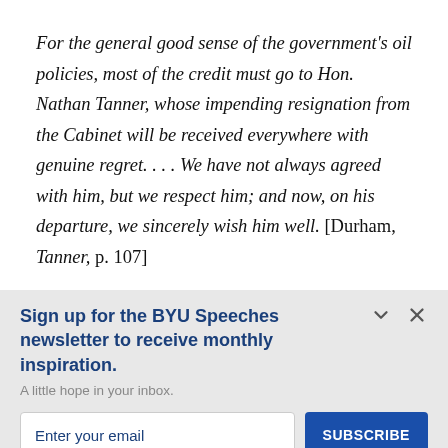For the general good sense of the government's oil policies, most of the credit must go to Hon. Nathan Tanner, whose impending resignation from the Cabinet will be received everywhere with genuine regret. . . . We have not always agreed with him, but we respect him; and now, on his departure, we sincerely wish him well. [Durham, Tanner, p. 107]
Sign up for the BYU Speeches newsletter to receive monthly inspiration.
A little hope in your inbox.
Enter your email
SUBSCRIBE